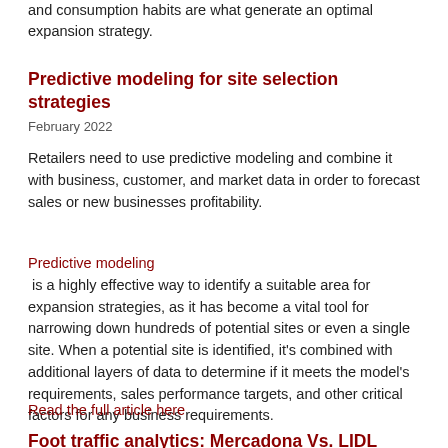and consumption habits are what generate an optimal expansion strategy.
Predictive modeling for site selection strategies
February 2022
Retailers need to use predictive modeling and combine it with business, customer, and market data in order to forecast sales or new businesses profitability.
Predictive modeling is a highly effective way to identify a suitable area for expansion strategies, as it has become a vital tool for narrowing down hundreds of potential sites or even a single site. When a potential site is identified, it's combined with additional layers of data to determine if it meets the model's requirements, sales performance targets, and other critical factors for any business requirements.
Read the full article here
Foot traffic analytics: Mercadona Vs. LIDL
December 2021